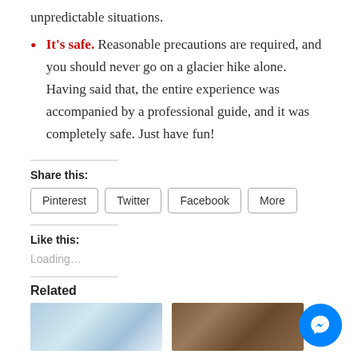unpredictable situations.
It's safe. Reasonable precautions are required, and you should never go on a glacier hike alone. Having said that, the entire experience was accompanied by a professional guide, and it was completely safe. Just have fun!
Share this:
Pinterest   Twitter   Facebook   More
Like this:
Loading…
Related
[Figure (photo): Two photos side by side below Related heading — left appears to be a sky/glacier scene, right appears to be a darker indoor or outdoor scene]